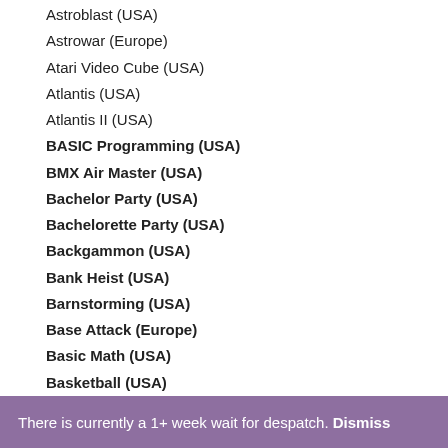Astroblast (USA)
Astrowar (Europe)
Atari Video Cube (USA)
Atlantis (USA)
Atlantis II (USA)
BASIC Programming (USA)
BMX Air Master (USA)
Bachelor Party (USA)
Bachelorette Party (USA)
Backgammon (USA)
Bank Heist (USA)
Barnstorming (USA)
Base Attack (Europe)
Basic Math (USA)
Basketball (USA)
Battlezone (USA)
Beamrider (USA)
Beany Bopper (USA)
There is currently a 1+ week wait for despatch. Dismiss